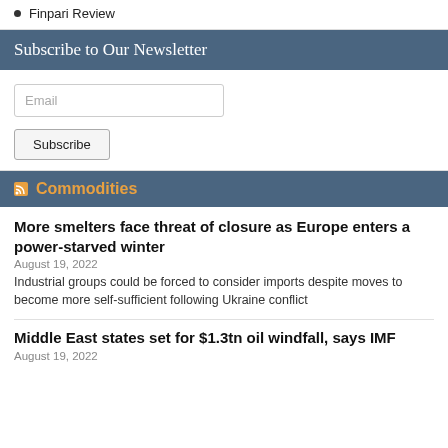Finpari Review
Subscribe to Our Newsletter
Email
Subscribe
Commodities
More smelters face threat of closure as Europe enters a power-starved winter
August 19, 2022
Industrial groups could be forced to consider imports despite moves to become more self-sufficient following Ukraine conflict
Middle East states set for $1.3tn oil windfall, says IMF
August 19, 2022